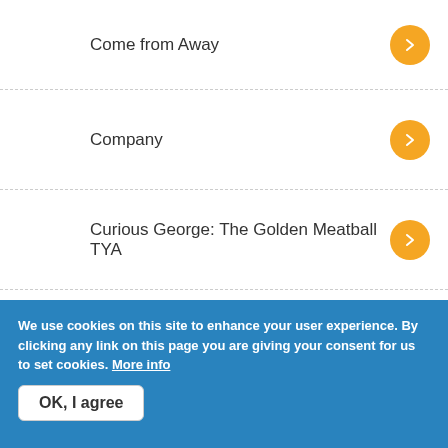Come from Away
Company
Curious George: The Golden Meatball TYA
Dear Edwina
We use cookies on this site to enhance your user experience. By clicking any link on this page you are giving your consent for us to set cookies. More info
OK, I agree